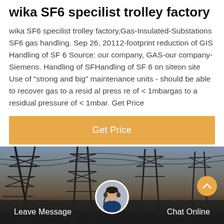wika SF6 specilist trolley factory
wika SF6 specilist trolley factory,Gas-Insulated-Substations SF6 gas handling. Sep 26, 20112-footprint reduction of GIS Handling of SF 6 Source: our company, GAS-our company-Siemens. Handling of SFHandling of SF 6 on siteon site Use of "strong and big" maintenance units - should be able to recover gas to a resid al press re of < 1mbargas to a residual pressure of < 1mbar. Get Price
[Figure (other): Orange 'Get Price' button]
[Figure (photo): Power substation / electrical transmission towers at dusk with orange sky background. A chat interface bar at the bottom shows 'Leave Message' on the left, a customer service agent avatar in the center, and 'Chat Online' on the right.]